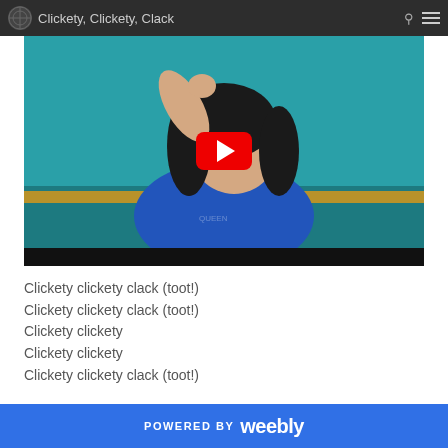Clickety, Clickety, Clack
[Figure (screenshot): YouTube video thumbnail showing a woman with curly dark hair in a blue shirt against a teal background, with the YouTube play button overlay in the center.]
Clickety clickety clack (toot!)
Clickety clickety clack (toot!)
Clickety clickety
Clickety clickety
Clickety clickety clack (toot!)
POWERED BY weebly